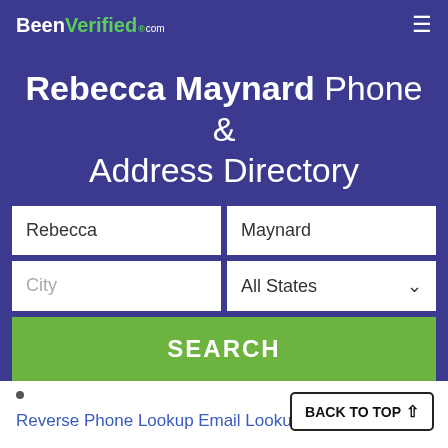BeenVerified.com
Rebecca Maynard Phone & Address Directory
Rebecca | Maynard | City | All States | SEARCH
Reverse Phone Lookup
Email Lookup
BACK TO TOP ↑